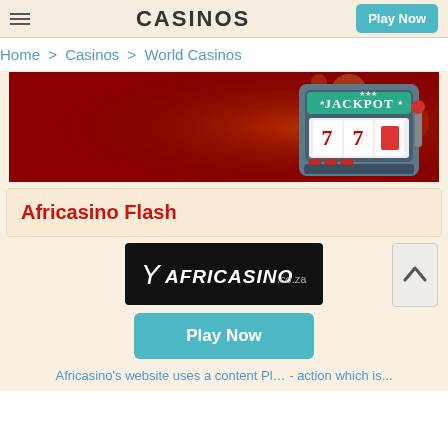CASINOS | Play Now
Home > Casinos > World Casinos
[Figure (illustration): Casino banner with slot machine showing 777 jackpot on red background]
Africasino Flash
[Figure (logo): Africasino.co.za logo on black background]
Play Now
Africasino's website uses a content Pl… - action which is...